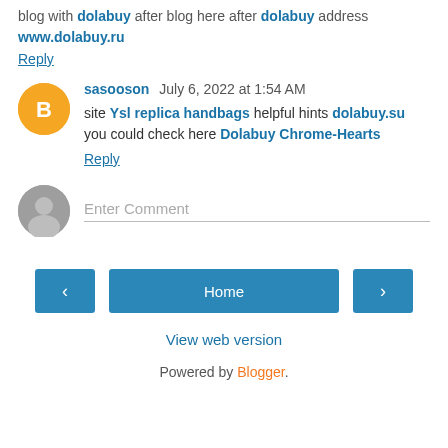blog with dolabuy after blog here after dolabuy address www.dolabuy.ru
Reply
sasooson July 6, 2022 at 1:54 AM
site Ysl replica handbags helpful hints dolabuy.su you could check here Dolabuy Chrome-Hearts
Reply
Enter Comment
Home
View web version
Powered by Blogger.